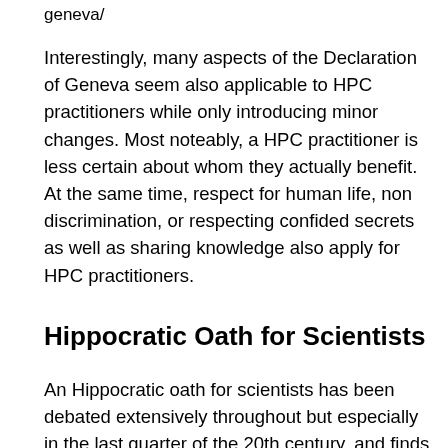geneva/
Interestingly, many aspects of the Declaration of Geneva seem also applicable to HPC practitioners while only introducing minor changes. Most noteably, a HPC practitioner is less certain about whom they actually benefit. At the same time, respect for human life, non discrimination, or respecting confided secrets as well as sharing knowledge also apply for HPC practitioners.
Hippocratic Oath for Scientists
An Hippocratic oath for scientists has been debated extensively throughout but especially in the last quarter of the 20th century, and finds many proponents but also many opponents. As of today, no such oath is widely sworn by scientists. It is, however,